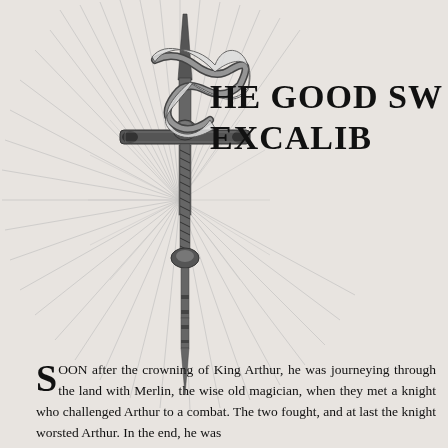[Figure (illustration): An ornate sword (Excalibur) with decorative crossguard and a ribbon or banner wrapped around it, with radiating light rays emanating from the blade — a classic black-and-white pen illustration.]
THE GOOD SWORD EXCALIBUR
SOON after the crowning of King Arthur, he was journeying through the land with Merlin, the wise old magician, when they met a knight who challenged Arthur to a combat. The two fought, and at last the knight worsted Arthur. In the end, he was